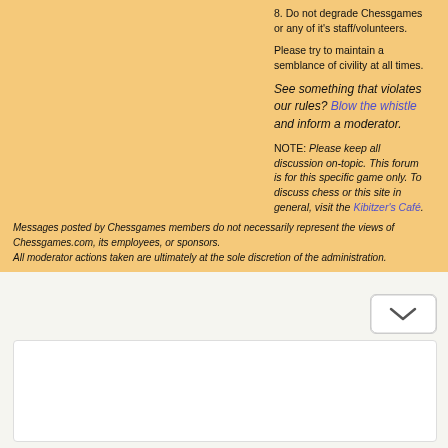8. Do not degrade Chessgames or any of it's staff/volunteers.
Please try to maintain a semblance of civility at all times.
See something that violates our rules? Blow the whistle and inform a moderator.
NOTE: Please keep all discussion on-topic. This forum is for this specific game only. To discuss chess or this site in general, visit the Kibitzer's Café.
Messages posted by Chessgames members do not necessarily represent the views of Chessgames.com, its employees, or sponsors. All moderator actions taken are ultimately at the sole discretion of the administration.
[Figure (other): Expand/collapse chevron button (down arrow) in the bottom right area of the page]